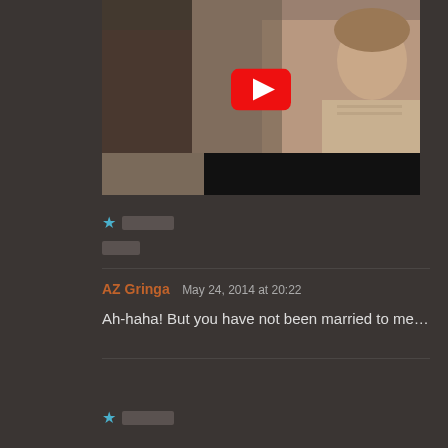[Figure (screenshot): YouTube video thumbnail showing a scene with a man and a young girl in period costumes, with a YouTube play button overlay]
★
Reply
AZ Gringa   May 24, 2014 at 20:22
Ah-haha! But you have not been married to me…
★